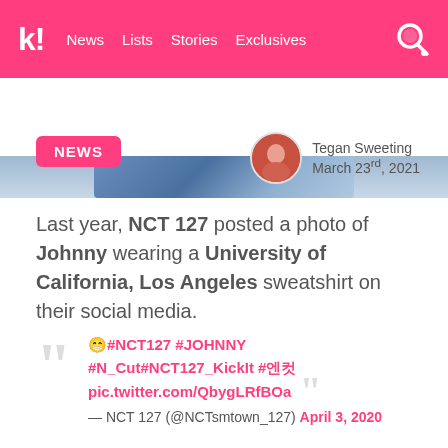k! News  Lists  Stories  Exclusives
[Figure (photo): Partial image strip showing a blue/decorative banner image below the navigation header]
NEWS
Tegan Sweeting
March 23rd, 2021
Last year, NCT 127 posted a photo of Johnny wearing a University of California, Los Angeles sweatshirt on their social media.
😁#NCT127 #JOHNNY #N_Cut#NCT127_KickIt #어떤 pic.twitter.com/QbygLRfBOa
— NCT 127 (@NCTsmtown_127) April 3, 2020